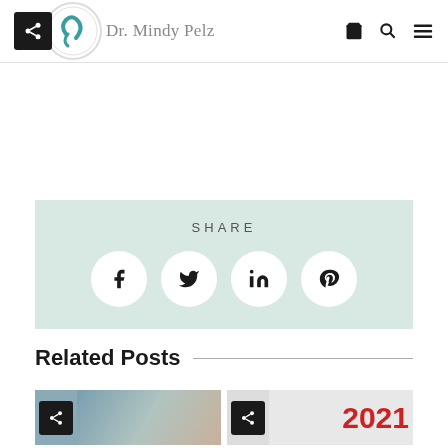Dr. Mindy Pelz
SHARE
Related Posts